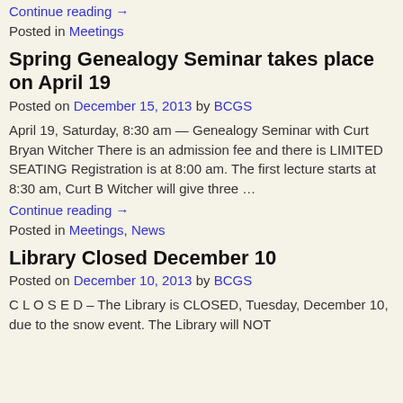Continue reading →
Posted in Meetings
Spring Genealogy Seminar takes place on April 19
Posted on December 15, 2013 by BCGS
April 19, Saturday, 8:30 am — Genealogy Seminar with Curt Bryan Witcher There is an admission fee and there is LIMITED SEATING Registration is at 8:00 am. The first lecture starts at 8:30 am, Curt B Witcher will give three …
Continue reading →
Posted in Meetings, News
Library Closed December 10
Posted on December 10, 2013 by BCGS
C L O S E D – The Library is CLOSED, Tuesday, December 10, due to the snow event. The Library will NOT